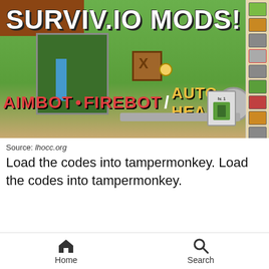[Figure (screenshot): Screenshot of a Surviv.io mods YouTube thumbnail showing the game interface with text 'SURVIV.IO MODS!' and 'AIMBOT • FIREBOT / AUTO HEAL • ADBLOCK']
Source: lhocc.org
Load the codes into tampermonkey. Load the codes into tampermonkey.
[Figure (screenshot): Screenshot of a game website showing 'Outlaws of the Old West' and 'Virtual Basement' logos with a timeline bar at the bottom]
Home   Search